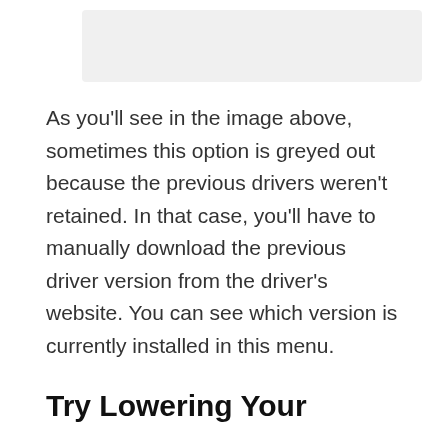[Figure (screenshot): Screenshot of a driver settings menu showing a greyed-out option]
As you’ll see in the image above, sometimes this option is greyed out because the previous drivers weren’t retained. In that case, you’ll have to manually download the previous driver version from the driver’s website. You can see which version is currently installed in this menu.
Try Lowering Your